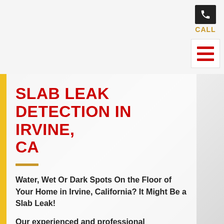[Figure (screenshot): Call button with phone icon in dark box and gold CALL label]
[Figure (screenshot): Hamburger menu icon with three red horizontal bars on white background]
SLAB LEAK DETECTION IN IRVINE, CA
Water, Wet Or Dark Spots On the Floor of Your Home in Irvine, California? It Might Be a Slab Leak!
Our experienced and professional